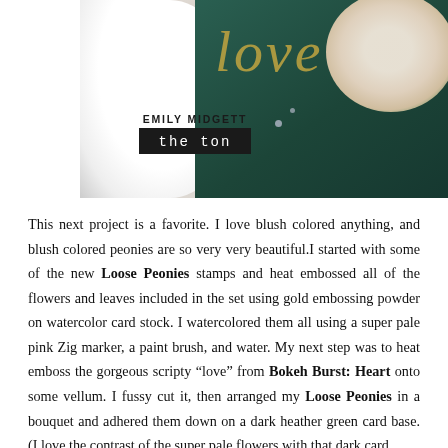[Figure (photo): Photo of a dark teal/heather green card with a gold scripty 'love' and blush peony flowers, propped near a white hobnail vase on a white textured surface. Overlaid with 'EMILY MIDGETT' and 'the ton' branding.]
This next project is a favorite. I love blush colored anything, and blush colored peonies are so very very beautiful.I started with some of the new Loose Peonies stamps and heat embossed all of the flowers and leaves included in the set using gold embossing powder on watercolor card stock. I watercolored them all using a super pale pink Zig marker, a paint brush, and water. My next step was to heat emboss the gorgeous scripty “love” from Bokeh Burst: Heart onto some vellum. I fussy cut it, then arranged my Loose Peonies in a bouquet and adhered them down on a dark heather green card base. (I love the contrast of the super pale flowers with that dark card